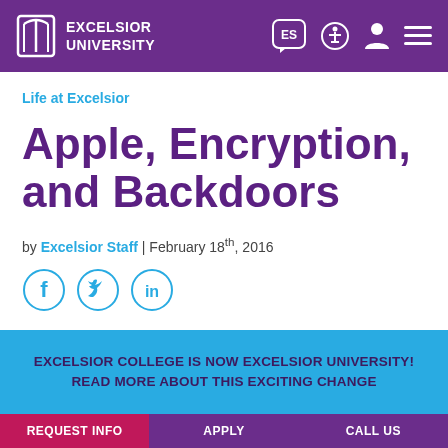EXCELSIOR UNIVERSITY
Life at Excelsior
Apple, Encryption, and Backdoors
by Excelsior Staff | February 18th, 2016
[Figure (other): Social media share icons: Facebook, Twitter, LinkedIn]
EXCELSIOR COLLEGE IS NOW EXCELSIOR UNIVERSITY! READ MORE ABOUT THIS EXCITING CHANGE
REQUEST INFO | APPLY | CALL US